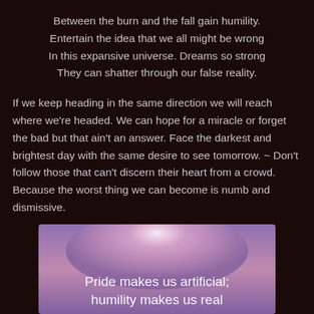Between the burn and the fall gain humility.
Entertain the idea that we all might be wrong
In this expansive universe. Dreams so strong
They can shatter through our false reality.
If we keep heading in the same direction we will reach where we're headed. We can hope for a miracle or forget the bad but that ain't an answer. Face the darkest and brightest day with the same desire to see tomorrow. ~ Don't follow those that can't discern their heart from a crowd. Because the worst thing we can become is numb and dismissive.
[Figure (illustration): A blurred gradient image with purple, pink and white tones, containing overlaid white text reading 'Pride makes us artificial; humility makes us real']